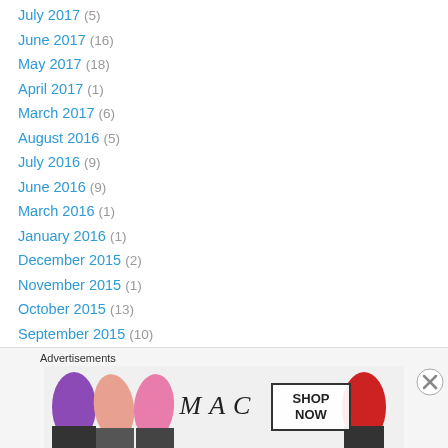July 2017 (5)
June 2017 (16)
May 2017 (18)
April 2017 (1)
March 2017 (6)
August 2016 (5)
July 2016 (9)
June 2016 (9)
March 2016 (1)
January 2016 (1)
December 2015 (2)
November 2015 (1)
October 2015 (13)
September 2015 (10)
August 2015 (12)
July 2015 (7)
[Figure (other): MAC cosmetics advertisement showing lipsticks with SHOP NOW button]
Advertisements